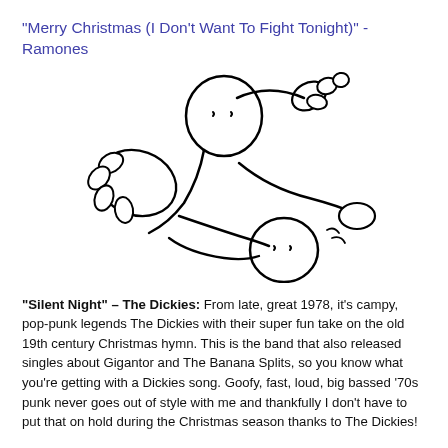"Merry Christmas (I Don't Want To Fight Tonight)" - Ramones
[Figure (illustration): Simple line-drawing cartoon of two round-headed figures wrestling or fighting on the ground]
“Silent Night” – The Dickies: From late, great 1978, it's campy, pop-punk legends The Dickies with their super fun take on the old 19th century Christmas hymn. This is the band that also released singles about Gigantor and The Banana Splits, so you know what you're getting with a Dickies song. Goofy, fast, loud, big bassed '70s punk never goes out of style with me and thankfully I don't have to put that on hold during the Christmas season thanks to The Dickies!